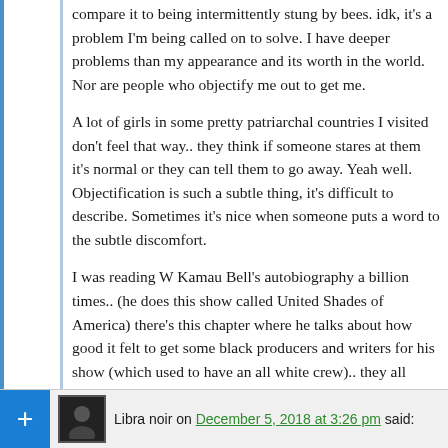compare it to being intermittently stung by bees. idk, it's a problem I'm being called on to solve. I have deeper problems than my appearance and its worth in the world. Nor are people who objectify me out to get me.
A lot of girls in some pretty patriarchal countries I visited don't feel that way.. they think if someone stares at them it's normal or they can tell them to go away. Yeah well. Objectification is such a subtle thing, it's difficult to describe. Sometimes it's nice when someone puts a word to the subtle discomfort.
I was reading W Kamau Bell's autobiography a billion times.. (he does this show called United Shades of America) there's this chapter where he talks about how good it felt to get some black producers and writers for his show (which used to have an all white crew).. they all would ride in the same van and talk about issues in a vernacular where they wouldn't have to explain subtle things.
Sometimes talking to people who get the nuances of who you are is more healing.
Reply ↓
Libra noir on December 5, 2018 at 3:26 pm said: